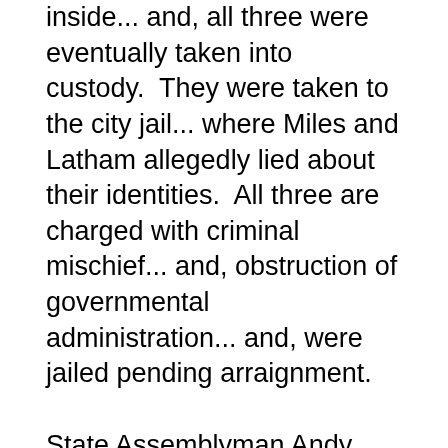inside... and, all three were eventually taken into custody.  They were taken to the city jail... where Miles and Latham allegedly lied about their identities.  All three are charged with criminal mischief... and, obstruction of governmental administration... and, were jailed pending arraignment.
State Assemblyman Andy Goodell is supporting the keeping of 120-million dollars in the state budget to fund programming for the region's developmentally-disabled.  Goodell recently met with clients and staff from The Resource Center... who visited the state Capitol to advocate for keeping the money in place.  If the money was cut... The Resource Center would receive a 6-percent funding cut for it's programming.  Officials say that's on top of 9 to 10-percent in cuts over the past three years.  Goodell says while New York is facing a difficult budget deficit... "it is essential that state government make the decisions needed to protect important services